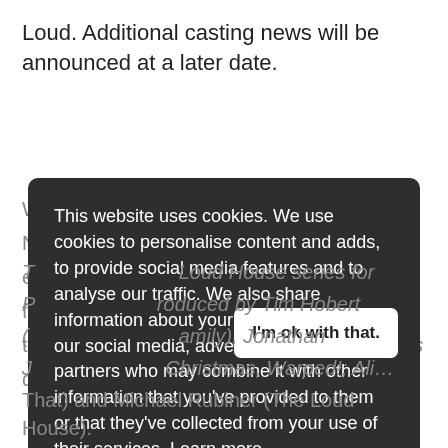Loud. Additional casting news will be announced at a later date.
This website uses cookies. We use cookies to personalise content and adds, to provide social media features and to analyse our traffic. We also share information about your use of our site with our social media, advertising and analytics partners who may combine it with other information that you've provided to them or that they've collected from your use of their services. Learn more
I'm ok with that.
...as premiered on ... became the top kids' e... kids 6-11 across all TV for the year drawing 3.1 million total viewers over the ... Loud House Christmas is c... mouse ... The Loud House series for Paramount ... produced by Tim Hobert (... amily), Jonathan J... Christmas, Warped!; Ali... That) and Michael Rubiner (The Loud House).